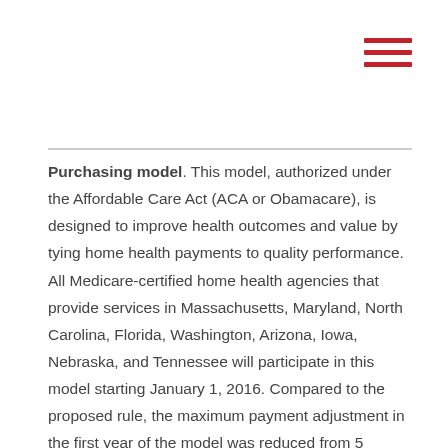[Figure (other): Hamburger menu icon made of three horizontal red bars in the top-right corner]
Purchasing model. This model, authorized under the Affordable Care Act (ACA or Obamacare), is designed to improve health outcomes and value by tying home health payments to quality performance. All Medicare-certified home health agencies that provide services in Massachusetts, Maryland, North Carolina, Florida, Washington, Arizona, Iowa, Nebraska, and Tennessee will participate in this model starting January 1, 2016. Compared to the proposed rule, the maximum payment adjustment in the first year of the model was reduced from 5 percent to 3 percent.